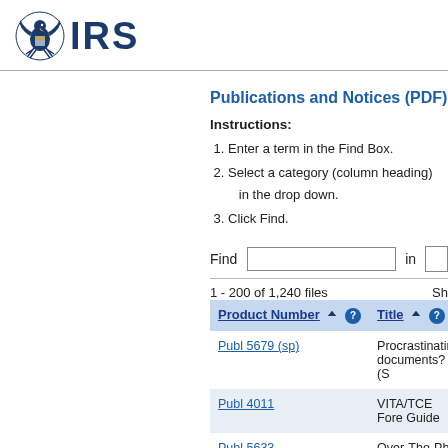[Figure (logo): IRS eagle logo with 'IRS' text in dark blue]
Publications and Notices (PDF)
Instructions:
Enter a term in the Find Box.
Select a category (column heading) in the drop down.
Click Find.
Find   [input]   in   [dropdown]
1 - 200 of 1,240 files   Sh
| Product Number | Title |
| --- | --- |
| Publ 5679 (sp) | Procrastinating documents? (S |
| Publ 4011 | VITA/TCE Fore Guide |
| Publ 5633 | Over-The-Pho |